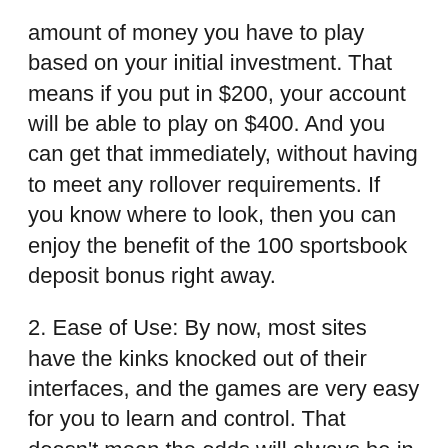amount of money you have to play based on your initial investment. That means if you put in $200, your account will be able to play on $400. And you can get that immediately, without having to meet any rollover requirements. If you know where to look, then you can enjoy the benefit of the 100 sportsbook deposit bonus right away.
2. Ease of Use: By now, most sites have the kinks knocked out of their interfaces, and the games are very easy for you to learn and control. That doesn't mean the odds will always be in your favor, but it does mean you will always know what is going on. If an online sportsbook is still having ease of use issues after all these years, then you might wish to steer clear.